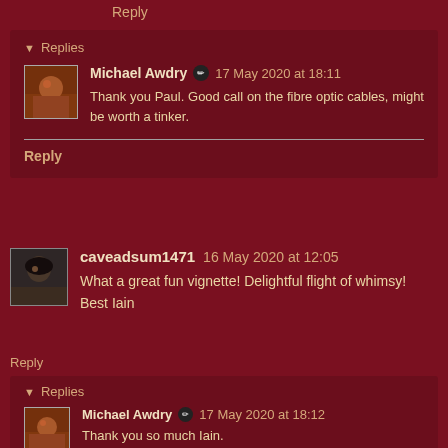Reply
Replies
Michael Awdry ✏ 17 May 2020 at 18:11
Thank you Paul. Good call on the fibre optic cables, might be worth a tinker.
Reply
caveadsum1471  16 May 2020 at 12:05
What a great fun vignette! Delightful flight of whimsy!
Best Iain
Reply
Replies
Michael Awdry ✏ 17 May 2020 at 18:12
Thank you so much Iain.